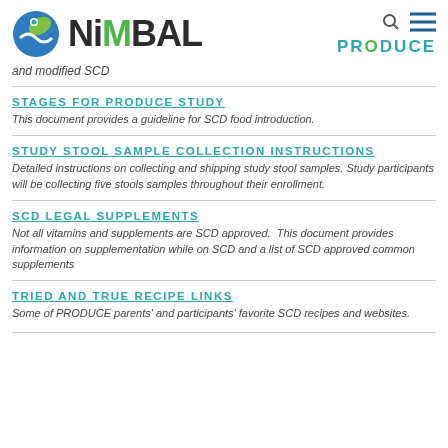[Figure (logo): NiMBAL logo with circular icon (blue and green) and NiMBAL text]
and modified SCD
STAGES FOR PRODUCE STUDY
This document provides a guideline for SCD food introduction.
STUDY STOOL SAMPLE COLLECTION INSTRUCTIONS
Detailed instructions on collecting and shipping study stool samples. Study participants will be collecting five stools samples throughout their enrollment.
SCD LEGAL SUPPLEMENTS
Not all vitamins and supplements are SCD approved. This document provides information on supplementation while on SCD and a list of SCD approved common supplements
TRIED AND TRUE RECIPE LINKS
Some of PRODUCE parents' and participants' favorite SCD recipes and websites.